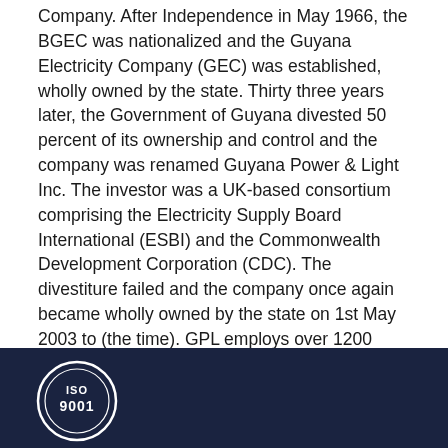Company. After Independence in May 1966, the BGEC was nationalized and the Guyana Electricity Company (GEC) was established, wholly owned by the state. Thirty three years later, the Government of Guyana divested 50 percent of its ownership and control and the company was renamed Guyana Power & Light Inc. The investor was a UK-based consortium comprising the Electricity Supply Board International (ESBI) and the Commonwealth Development Corporation (CDC). The divestiture failed and the company once again became wholly owned by the state on 1st May 2003 to (the time). GPL employs over 1200 workers countrywide, with a multitude of industrial and administrative skills.
[Figure (logo): ISO 9001 certification badge/logo in white on dark navy blue footer background]